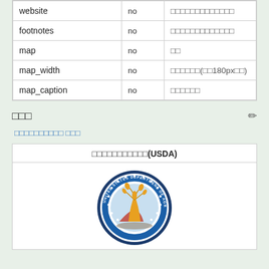|  |  |  |
| --- | --- | --- |
| website | no | □□□□□□□□□□□□□ |
| footnotes | no | □□□□□□□□□□□□□ |
| map | no | □□ |
| map_width | no | □□□□□□(□□180px□□) |
| map_caption | no | □□□□□□ |
□□□
□□□□□□□□□□ □□□
| □□□□□□□□□□□(USDA) |
| --- |
| [USDA seal image] |